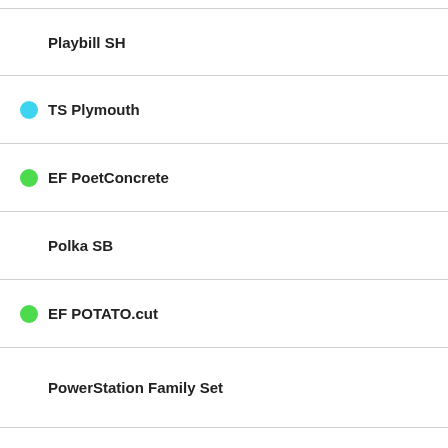Playbill SH — 1 Fo...
TS Plymouth — 14 Fo...
EF PoetConcrete — 2 Fo...
Polka SB — 1 Fo...
EF POTATO.cut — 1 Fo...
PowerStation Family Set — 7 Fo... Produ...
TS Priamos Family Set — 7 Fo... Produ...
TS Priamos — 7 Fo...